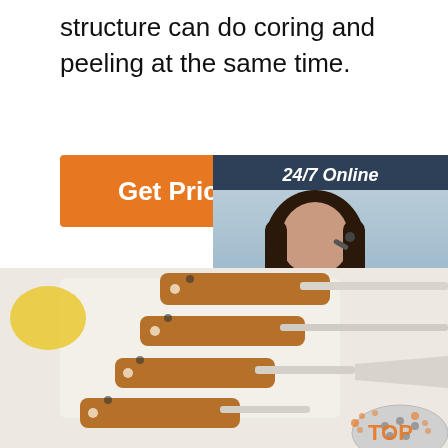structure can do coring and peeling at the same time.
[Figure (illustration): Orange 'Get Price' button]
[Figure (photo): 24/7 Online customer service sidebar with agent photo, 'Click here for free chat!' text, and orange QUOTATION button]
[Figure (photo): Kitchen utensils with wooden handles arranged on white surface, including spatulas and a slotted spoon]